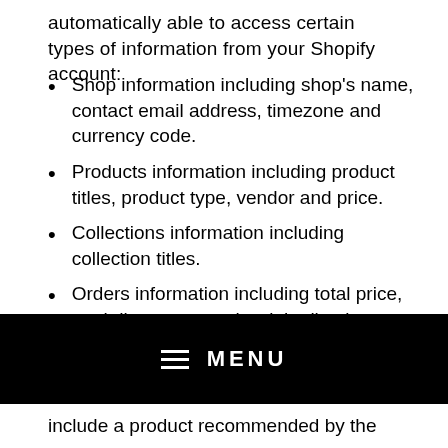automatically able to access certain types of information from your Shopify account:
Shop information including shop's name, contact email address, timezone and currency code.
Products information including product titles, product type, vendor and price.
Collections information including collection titles.
Orders information including total price, total discounts, total weight, line item price, line item discounts, line item
MENU
include a product recommended by the